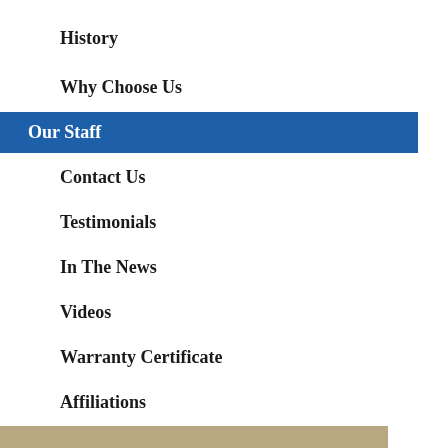History
Why Choose Us
Our Staff
Contact Us
Testimonials
In The News
Videos
Warranty Certificate
Affiliations